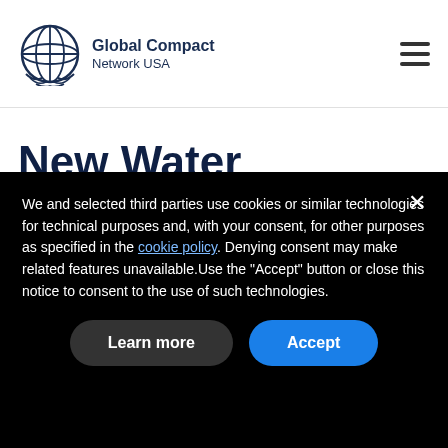[Figure (logo): UN Global Compact Network USA logo with globe emblem]
New Water Resilience Assessment Framework Launched at World Water...
We and selected third parties use cookies or similar technologies for technical purposes and, with your consent, for other purposes as specified in the cookie policy. Denying consent may make related features unavailable.Use the “Accept” button or close this notice to consent to the use of such technologies.